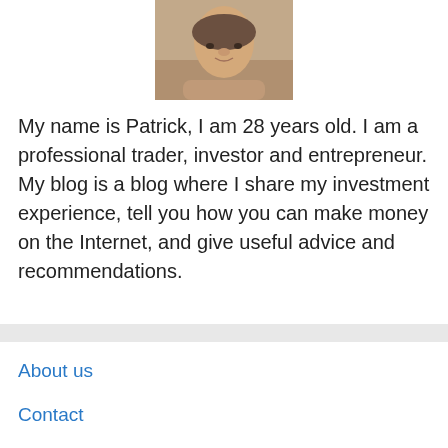[Figure (photo): Portrait photo of a young man (Patrick), cropped to show face and upper chest, centered at top of page.]
My name is Patrick, I am 28 years old. I am a professional trader, investor and entrepreneur. My blog is a blog where I share my investment experience, tell you how you can make money on the Internet, and give useful advice and recommendations.
About us
Contact
Privacy Policy & Cookies
ATTENTION TO RIGHT HOLDERS! All materials are posted on the site strictly for